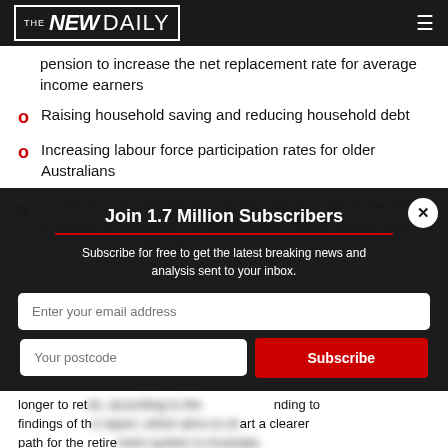THE NEW DAILY
pension to increase the net replacement rate for average income earners
Raising household saving and reducing household debt
Increasing labour force participation rates for older Australians
Increasing the mechanism for the pension age to be tied to levels of increased life expectancy (which makes any conversation political)
[Figure (screenshot): Modal overlay: Join 1.7 Million Subscribers. Subscribe for free to get the latest breaking news and analysis sent to your inbox. Email address input, postcode input, Subscribe button.]
longer to retr... findings of t... path for the retire...